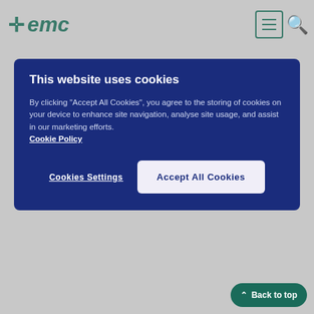emc
[Figure (screenshot): Cookie consent overlay on emc (electronic medicines compendium) website with 'This website uses cookies' heading, explanatory text, Cookie Policy link, Cookies Settings button, and Accept All Cookies button]
Active disease
Individual dosage, up to 4 g mesalazine once daily or divided into 2-4 doses.
Maintenance treatment
Individual dosage. Recommended dosage, 2 g mesalazine once daily.
Paediatric population:
The safety and efficacy in children below 6 years of age have not been established.
There is only limited documentation for an effect in children (6...